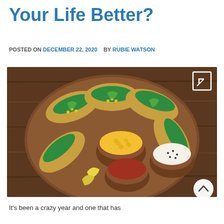Your Life Better?
POSTED ON DECEMBER 22, 2020   BY RUBIE WATSON
[Figure (photo): Overhead photo of avocado tacos arranged on a wooden board with bowls of corn, salsa, and a cream sauce]
It's been a crazy year and one that has